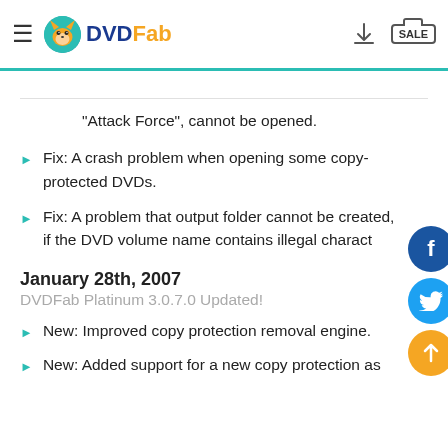DVDFab
"Attack Force", cannot be opened.
Fix: A crash problem when opening some copy-protected DVDs.
Fix: A problem that output folder cannot be created, if the DVD volume name contains illegal charact…
January 28th, 2007
DVDFab Platinum 3.0.7.0 Updated!
New: Improved copy protection removal engine.
New: Added support for a new copy protection as